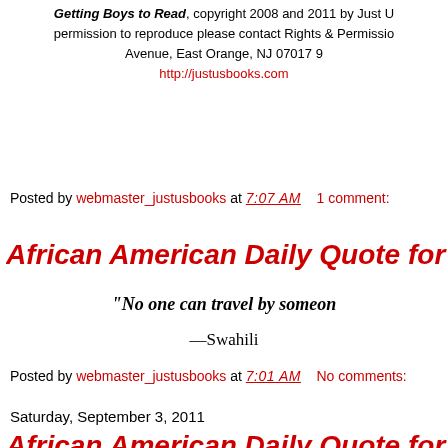Getting Boys to Read, copyright 2008 and 2011 by Just U... permission to reproduce please contact Rights & Permissions... Avenue, East Orange, NJ 07017 9... http://justusbooks.com
Posted by webmaster_justusbooks at 7:07 AM   1 comment:
African American Daily Quote for ...
"No one can travel by someon...
—Swahili
Posted by webmaster_justusbooks at 7:01 AM   No comments:
Saturday, September 3, 2011
African American Daily Quote for ...